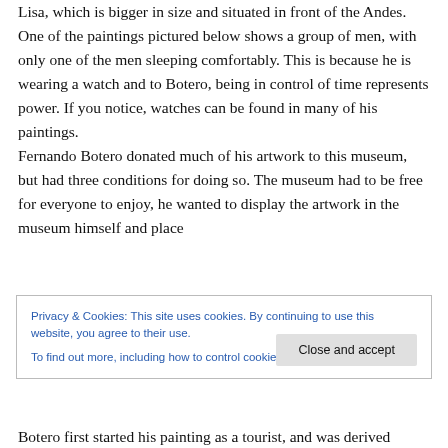Lisa, which is bigger in size and situated in front of the Andes.
One of the paintings pictured below shows a group of men, with only one of the men sleeping comfortably. This is because he is wearing a watch and to Botero, being in control of time represents power. If you notice, watches can be found in many of his paintings.
Fernando Botero donated much of his artwork to this museum, but had three conditions for doing so. The museum had to be free for everyone to enjoy, he wanted to display the artwork in the museum himself and place
Privacy & Cookies: This site uses cookies. By continuing to use this website, you agree to their use.
To find out more, including how to control cookies, see here: Cookie Policy
Botero first started his painting as a tourist, and was derived